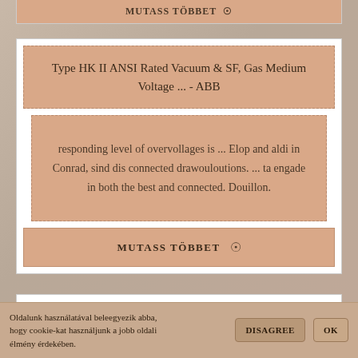MUTASS TÖBBET 👁
Type HK II ANSI Rated Vacuum & SF, Gas Medium Voltage ... - ABB
responding level of overvollages is ... Elop and aldi in Conrad, sind dis connected drawouloutions. ... ta engade in both the best and connected. Douillon.
MUTASS TÖBBET 👁
Oldalunk használatával beleegyezik abba, hogy cookie-kat használjunk a jobb oldali élmény érdekében.